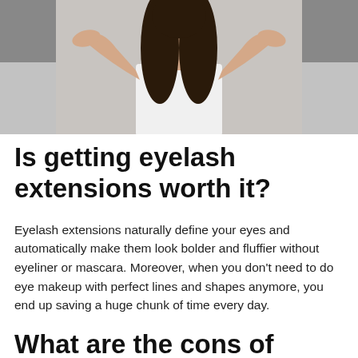[Figure (photo): Photo of a woman with long dark hair wearing a white shirt, raising both hands with palms up in a shrugging gesture. Two smaller photos are partially visible in the upper corners.]
Is getting eyelash extensions worth it?
Eyelash extensions naturally define your eyes and automatically make them look bolder and fluffier without eyeliner or mascara. Moreover, when you don't need to do eye makeup with perfect lines and shapes anymore, you end up saving a huge chunk of time every day.
What are the cons of eyelash extensions?